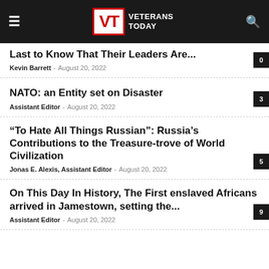VT VETERANS TODAY
Last to Know That Their Leaders Are...
Kevin Barrett – August 20, 2022
NATO: an Entity set on Disaster
Assistant Editor – August 20, 2022
“To Hate All Things Russian”: Russia’s Contributions to the Treasure-trove of World Civilization
Jonas E. Alexis, Assistant Editor – August 20, 2022
On This Day In History, The First enslaved Africans arrived in Jamestown, setting the...
Assistant Editor – August 20, 2022